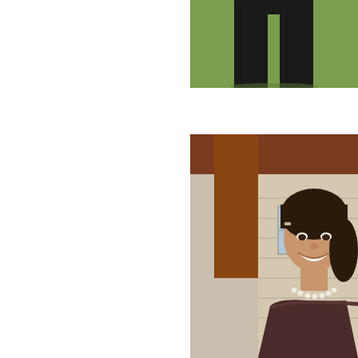[Figure (photo): Cropped photo showing lower body of a person wearing black dress pants, standing on green grass. Only legs and lower torso visible.]
[Figure (photo): Photo of a smiling young Asian woman wearing a strapless dark brown/maroon dress and pearl necklace, with a hair clip, standing in front of a house with wooden beams and siding visible in the background.]